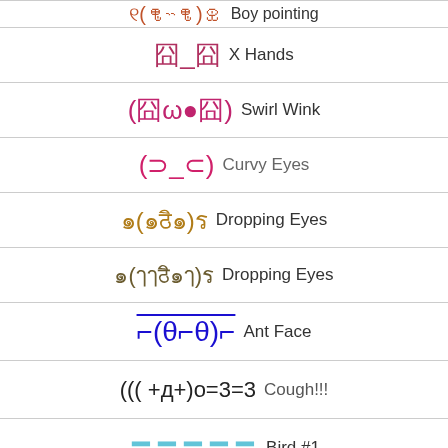囧_囧 X Hands
(囧ω●囧) Swirl Wink
(⊃_⊂) Curvy Eyes
๑(๑ठิ๑)ร Dropping Eyes
๑(ๅๅठิ๑ๅ)ร Dropping Eyes
⌐(θ⌐θ)⌐ Ant Face
((( +д+)о=3=3 Cough!!!
〓〓〓〓〓 Bird #1